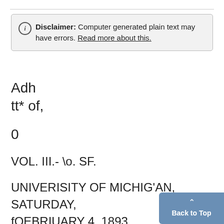Disclaimer: Computer generated plain text may have errors. Read more about this.
Adh
tt* of,
0
VOL. III.- \o. SF.
UNIVERISITY OF MICHIG'AN, SATURDAY, fOEBRIUARY 4, 1893.